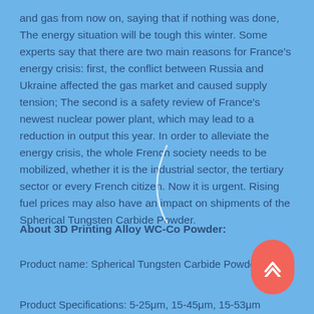and gas from now on, saying that if nothing was done, The energy situation will be tough this winter. Some experts say that there are two main reasons for France's energy crisis: first, the conflict between Russia and Ukraine affected the gas market and caused supply tension; The second is a safety review of France's newest nuclear power plant, which may lead to a reduction in output this year. In order to alleviate the energy crisis, the whole French society needs to be mobilized, whether it is the industrial sector, the tertiary sector or every French citizen. Now it is urgent. Rising fuel prices may also have an impact on shipments of the Spherical Tungsten Carbide Powder.
About 3D Printing Alloy WC-Co Powder:
Product name: Spherical Tungsten Carbide Powder
Product Specifications: 5-25&mu;m, 15-45&mu;m, 15-53&mu;m